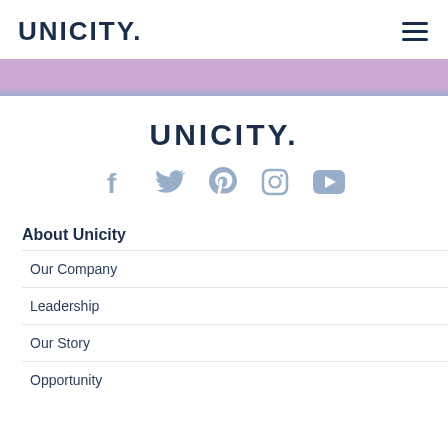UNICITY. [hamburger menu]
[Figure (other): Purple/lavender horizontal banner bar]
[Figure (logo): UNICITY. logo in navy blue, centered]
[Figure (other): Social media icons row: Facebook, Twitter, Pinterest, Instagram, YouTube — in light blue/steel color]
About Unicity
Our Company
Leadership
Our Story
Opportunity